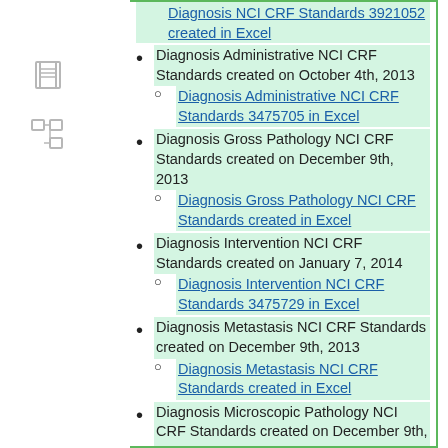Diagnosis NCI CRF Standards 3921052 created in Excel
Diagnosis Administrative NCI CRF Standards created on October 4th, 2013
Diagnosis Administrative NCI CRF Standards 3475705 in Excel
Diagnosis Gross Pathology NCI CRF Standards created on December 9th, 2013
Diagnosis Gross Pathology NCI CRF Standards created in Excel
Diagnosis Intervention NCI CRF Standards created on January 7, 2014
Diagnosis Intervention NCI CRF Standards 3475729 in Excel
Diagnosis Metastasis NCI CRF Standards created on December 9th, 2013
Diagnosis Metastasis NCI CRF Standards created in Excel
Diagnosis Microscopic Pathology NCI CRF Standards created on December 9th, 2013
Diagnosis Microscopic Pathology NCI CRF Standards created in Excel
Eligibility NCI CRF Standards created on October 4th, 2013
Eligibility NCI CRF Standards